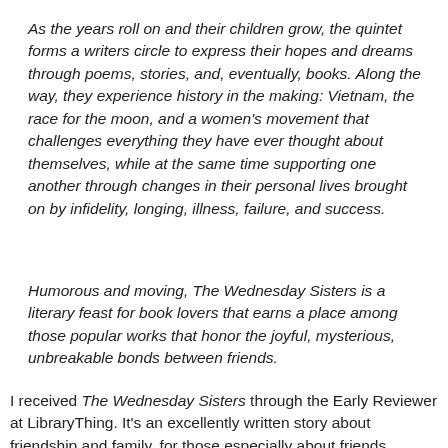As the years roll on and their children grow, the quintet forms a writers circle to express their hopes and dreams through poems, stories, and, eventually, books. Along the way, they experience history in the making: Vietnam, the race for the moon, and a women's movement that challenges everything they have ever thought about themselves, while at the same time supporting one another through changes in their personal lives brought on by infidelity, longing, illness, failure, and success.
Humorous and moving, The Wednesday Sisters is a literary feast for book lovers that earns a place among those popular works that honor the joyful, mysterious, unbreakable bonds between friends.
I received The Wednesday Sisters through the Early Reviewer at LibraryThing. It's an excellently written story about friendship and family, for those especially about friends.